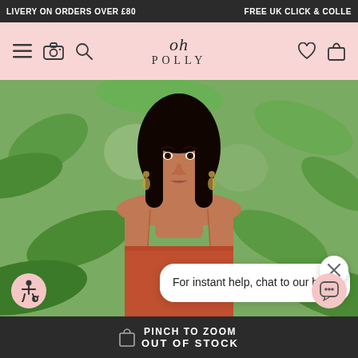LIVERY ON ORDERS OVER £80   FREE UK CLICK & COLLE
[Figure (logo): Oh Polly logo in script and uppercase serif letters on pink background]
[Figure (photo): Fashion model wearing a rust/terracotta strapless dress against tropical green foliage background]
For instant help, chat to our bot!
PINCH TO ZOOM
OUT OF STOCK